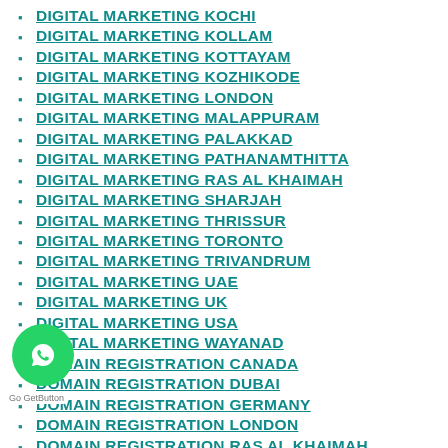DIGITAL MARKETING KOCHI
DIGITAL MARKETING KOLLAM
DIGITAL MARKETING KOTTAYAM
DIGITAL MARKETING KOZHIKODE
DIGITAL MARKETING LONDON
DIGITAL MARKETING MALAPPURAM
DIGITAL MARKETING PALAKKAD
DIGITAL MARKETING PATHANAMTHITTA
DIGITAL MARKETING RAS AL KHAIMAH
DIGITAL MARKETING SHARJAH
DIGITAL MARKETING THRISSUR
DIGITAL MARKETING TORONTO
DIGITAL MARKETING TRIVANDRUM
DIGITAL MARKETING UAE
DIGITAL MARKETING UK
DIGITAL MARKETING USA
DIGITAL MARKETING WAYANAD
DOMAIN REGISTRATION CANADA
DOMAIN REGISTRATION DUBAI
DOMAIN REGISTRATION GERMANY
DOMAIN REGISTRATION LONDON
DOMAIN REGISTRATION RAS AL KHAIMAH